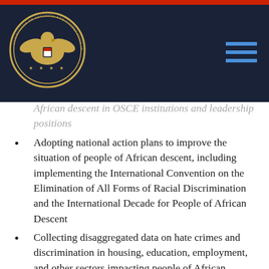20...ion included:
African descent in OSCE institutions and leadership positions
Adopting national action plans to improve the situation of people of African descent, including implementing the International Convention on the Elimination of All Forms of Racial Discrimination and the International Decade for People of African Descent
Collecting disaggregated data on hate crimes and discrimination in housing, education, employment, and other sectors impacting people of African descent
Targeting programs for refugees and migrants of African descent, including an increased focus on integration